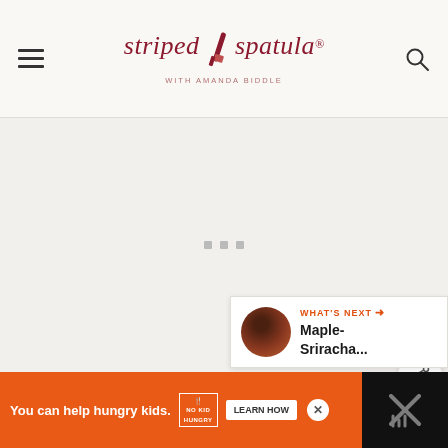striped spatula — with Amanda Biddle
[Figure (screenshot): Main content area with loading dots on light gray background]
[Figure (infographic): Heart favorite button (dark red circle) and share button (white circle)]
[Figure (infographic): What's Next panel with thumbnail and text: Maple-Sriracha...]
[Figure (screenshot): Ad banner: You can help hungry kids. No Kid Hungry. LEARN HOW button with close X]